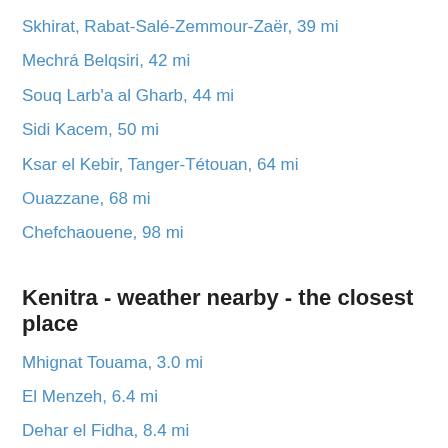Skhirat, Rabat-Salé-Zemmour-Zaër, 39 mi
Mechrá Belqsiri, 42 mi
Souq Larb'a al Gharb, 44 mi
Sidi Kacem, 50 mi
Ksar el Kebir, Tanger-Tétouan, 64 mi
Ouazzane, 68 mi
Chefchaouene, 98 mi
Kenitra - weather nearby - the closest place
Mhignat Touama, 3.0 mi
El Menzeh, 6.4 mi
Dehar el Fidha, 8.4 mi
Plage des Nations, 11 mi
El Koudia, 13 mi
Koudiat el Kra, 14 mi